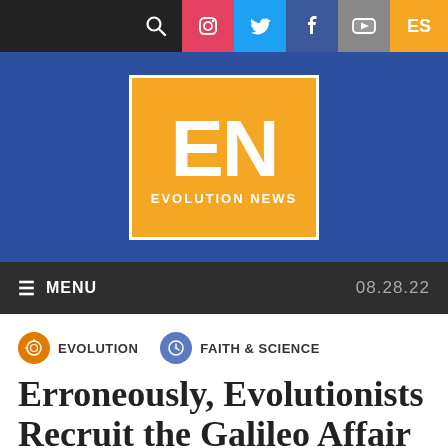Evolution News website header with social icons: search, Instagram, Twitter, Facebook, YouTube, ES
[Figure (logo): Evolution News logo: orange rectangle with white letters EN and text EVOLUTION NEWS below]
≡ MENU   08.28.22
EVOLUTION   FAITH & SCIENCE
Erroneously, Evolutionists Recruit the Galileo Affair to Their Service